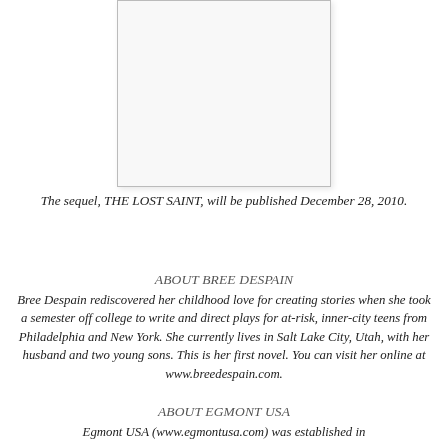[Figure (other): Book cover image placeholder — a white/light grey rectangle with a thin border representing the book cover]
The sequel, THE LOST SAINT, will be published December 28, 2010.
ABOUT BREE DESPAIN
Bree Despain rediscovered her childhood love for creating stories when she took a semester off college to write and direct plays for at-risk, inner-city teens from Philadelphia and New York. She currently lives in Salt Lake City, Utah, with her husband and two young sons. This is her first novel. You can visit her online at www.breedespain.com.
ABOUT EGMONT USA
Egmont USA (www.egmontusa.com) was established in